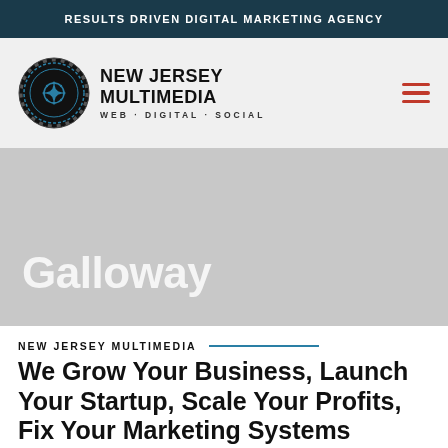RESULTS DRIVEN DIGITAL MARKETING AGENCY
[Figure (logo): New Jersey Multimedia circular logo with web/digital/social tagline]
Galloway
NEW JERSEY MULTIMEDIA
We Grow Your Business, Launch Your Startup, Scale Your Profits, Fix Your Marketing Systems